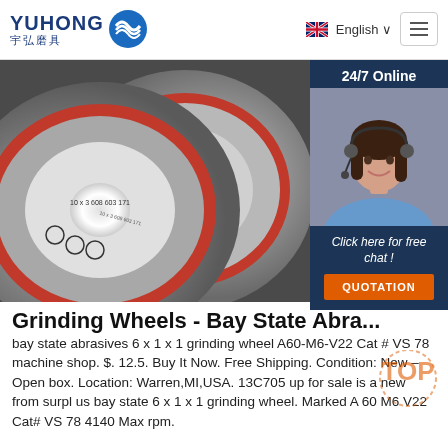[Figure (logo): Yuhong abrasives company logo with blue wave icon and Chinese characters 宇弘磨具]
English
[Figure (photo): Close-up photo of grinding wheels showing abrasive discs with safety markings including '10 x 3 608 603 171' and various certification symbols]
[Figure (photo): 24/7 Online chat agent: smiling woman wearing headset, overlaid on dark blue background with 'Click here for free chat!' text and QUOTATION button]
Grinding Wheels - Bay State Abrasives
bay state abrasives 6 x 1 x 1 grinding wheel A60-M6-V22 Cat # VS 78 machine shop. $. 12.5. Buy It Now. Free Shipping. Condition: New – Open box. Location: Warren,MI,USA. 13C705 up for sale is a new from surpl us bay state 6 x 1 x 1 grinding wheel. Marked A 60 M6 V22 Cat# VS 78 4140 Max rpm.